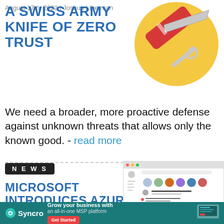A SWISS ARMY KNIFE OF ZERO TRUST
August 17th, 2022 | Joshua Liberman
[Figure (illustration): Swiss army knife illustration with colorful tools on a yellow circular background]
We need a broader, more proactive defense against unknown threats that allows only the known good. - read more
NEWS
MICROSOFT INTRODUCES AZURE MIGRATION
[Figure (screenshot): Screenshot of a Microsoft application interface showing a social/collaboration platform with user profiles and a welcome message for a new Chief Executive Officer]
INCE...ION, AND
[Figure (other): Syncro advertisement banner: Grow your business with an all-in-one MSP platform]